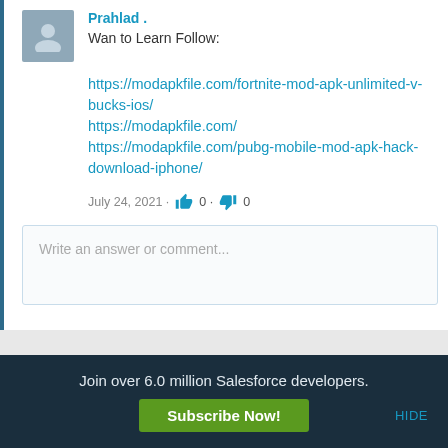Prahlad .
Wan to Learn Follow:
https://modapkfile.com/fortnite-mod-apk-unlimited-v-bucks-ios/
https://modapkfile.com/
https://modapkfile.com/pubg-mobile-mod-apk-hack-download-iphone/
July 24, 2021 · 👍 0 · 👎 0
Write an answer or comment...
Join over 6.0 million Salesforce developers.
Subscribe Now!
HIDE